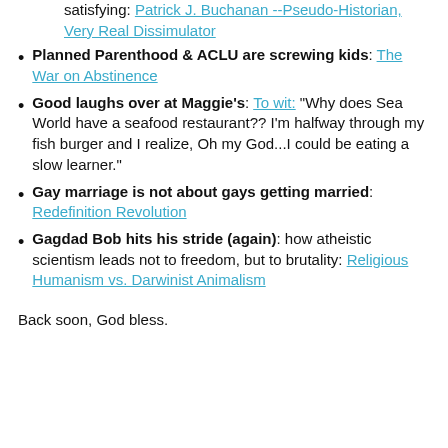Buchanan: Not pretty, but very, very satisfying: Patrick J. Buchanan --Pseudo-Historian, Very Real Dissimulator
Planned Parenthood & ACLU are screwing kids: The War on Abstinence
Good laughs over at Maggie's: To wit: “Why does Sea World have a seafood restaurant?? I’m halfway through my fish burger and I realize, Oh my God...I could be eating a slow learner.”
Gay marriage is not about gays getting married: Redefinition Revolution
Gagdad Bob hits his stride (again): how atheistic scientism leads not to freedom, but to brutality: Religious Humanism vs. Darwinist Animalism
Back soon, God bless.